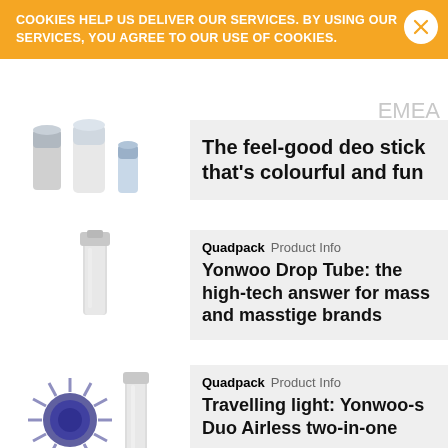COOKIES HELP US DELIVER OUR SERVICES. BY USING OUR SERVICES, YOU AGREE TO OUR USE OF COOKIES.
EMEA
Americas
APAC
[Figure (photo): Three deodorant sticks in white/grey colors]
The feel-good deo stick that's colourful and fun
[Figure (photo): White cosmetic tube product]
Quadpack  Product Info
Yonwoo Drop Tube: the high-tech answer for mass and masstige brands
[Figure (photo): Yonwoo Duo Airless two-in-one product with starburst design]
Quadpack  Product Info
Travelling light: Yonwoo-s Duo Airless two-in-one
[Figure (photo): Dark background product photo for Absolution]
Quadpack  Company News
Absolution well pump grabs three